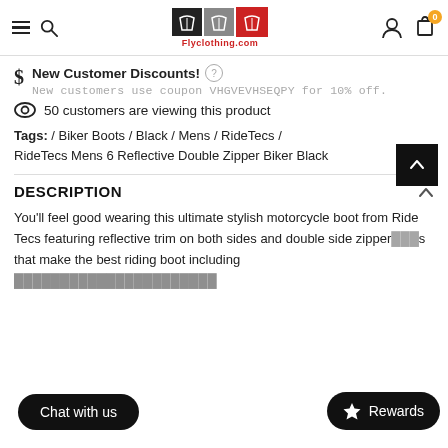Flyclothing.com — navigation header with hamburger menu, search, logo, user icon, and cart (0)
New Customer Discounts! New customers use coupon VHGVEVHSEQPY for 10% off.
50 customers are viewing this product
Tags: / Biker Boots / Black / Mens / RideTecs / RideTecs Mens 6 Reflective Double Zipper Biker Black
DESCRIPTION
You'll feel good wearing this ultimate stylish motorcycle boot from Ride Tecs featuring reflective trim on both sides and double side zipper... that make the best riding boot including...